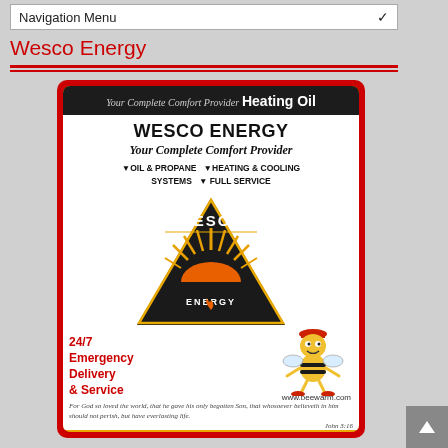Navigation Menu
Wesco Energy
[Figure (logo): Wesco Energy advertisement with logo, bee mascot, and company information. Red and yellow bordered card with black header reading 'Your Complete Comfort Provider Heating Oil', company name WESCO ENERGY, tagline 'Your Complete Comfort Provider', services list, triangular Wesco logo with sun/flame graphic, 24/7 Emergency Delivery & Service text in red, www.beewarm.com, and Bible verse John 3:16 at bottom.]